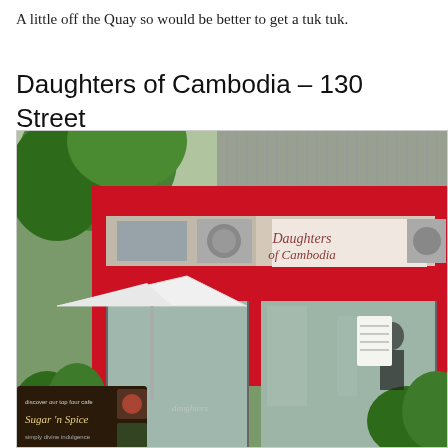A little off the Quay so would be better to get a tuk tuk.
Daughters of Cambodia – 130 Street
[Figure (photo): Exterior photograph of Daughters of Cambodia restaurant on 130 Street. The building facade is bright red with a sign reading 'Daughters of Cambodia' in cursive script. A white umbrella/canopy is visible on the left side along with lush green trees and tropical plants. At the bottom left is a 'Sugar n Spice' café sign. The entrance has glass doors and windows.]